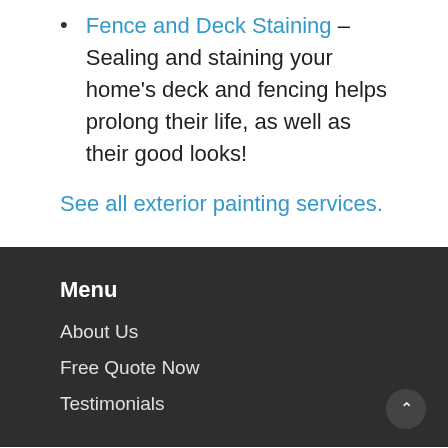Fence and Deck Staining – Sealing and staining your home's deck and fencing helps prolong their life, as well as their good looks!
See all exterior painting services.
Menu
About Us
Free Quote Now
Testimonials